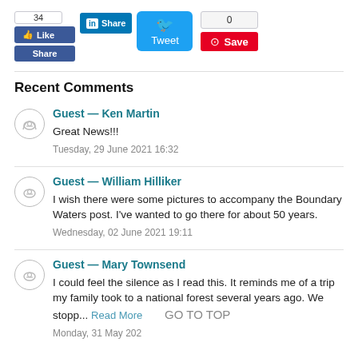[Figure (screenshot): Social sharing buttons: Facebook Like (34), Facebook Share, LinkedIn Share, Twitter Tweet button, tweet count (0), Pinterest Save]
Recent Comments
Guest — Ken Martin
Great News!!!
Tuesday, 29 June 2021 16:32
Guest — William Hilliker
I wish there were some pictures to accompany the Boundary Waters post. I've wanted to go there for about 50 years.
Wednesday, 02 June 2021 19:11
Guest — Mary Townsend
I could feel the silence as I read this. It reminds me of a trip my family took to a national forest several years ago. We stopp... Read More
Monday, 31 May 2021